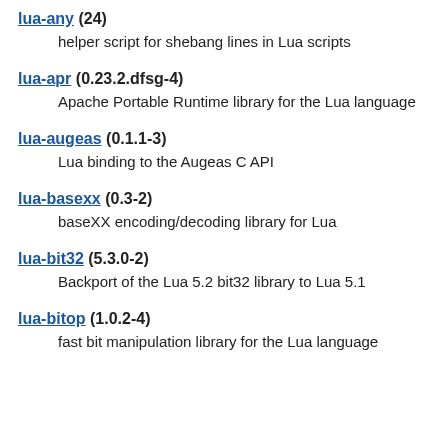lua-any (24)
 helper script for shebang lines in Lua scripts
lua-apr (0.23.2.dfsg-4)
 Apache Portable Runtime library for the Lua language
lua-augeas (0.1.1-3)
 Lua binding to the Augeas C API
lua-basexx (0.3-2)
 baseXX encoding/decoding library for Lua
lua-bit32 (5.3.0-2)
 Backport of the Lua 5.2 bit32 library to Lua 5.1
lua-bitop (1.0.2-4)
 fast bit manipulation library for the Lua language